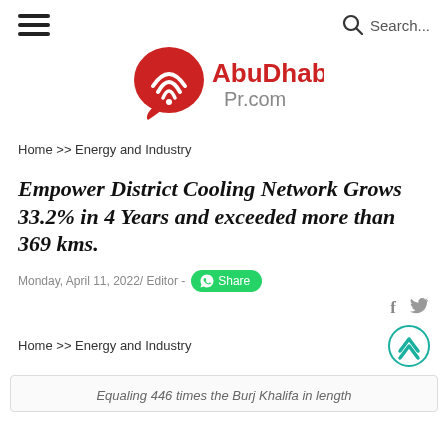Hamburger menu | Search...
[Figure (logo): AbuDhabi Pr.com logo with red speech bubble icon containing wifi-like signal arcs]
Home >> Energy and Industry
Empower District Cooling Network Grows 33.2% in 4 Years and exceeded more than 369 kms.
Monday, April 11, 2022/ Editor - Share
Home >> Energy and Industry
Equaling 446 times the Burj Khalifa in length